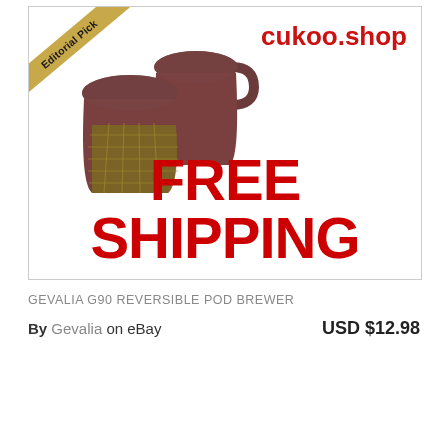[Figure (photo): Two brown reusable K-cup coffee pods with a gold mesh filter visible on one. Image shows the product against a white background with 'cukoo.shop' branding in red and 'Editorial Pick' banner ribbon in top-left corner. Red bold text 'FREE SHIPPING' appears at the bottom of the image box.]
GEVALIA G90 REVERSIBLE POD BREWER
By Gevalia on eBay    USD $12.98